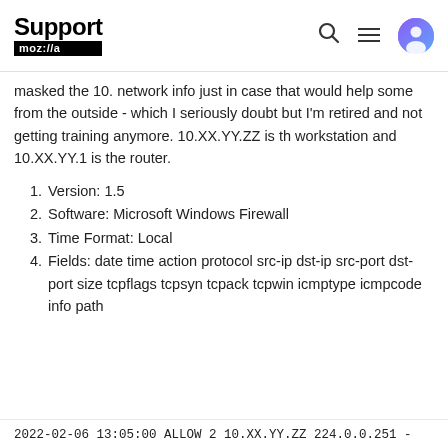Support mozilla//a
masked the 10. network info just in case that would help some from the outside - which I seriously doubt but I'm retired and not getting training anymore. 10.XX.YY.ZZ is th workstation and 10.XX.YY.1 is the router.
Version: 1.5
Software: Microsoft Windows Firewall
Time Format: Local
Fields: date time action protocol src-ip dst-ip src-port dst-port size tcpflags tcpsyn tcpack tcpwin icmptype icmpcode info path
2022-02-06 13:05:00 ALLOW 2 10.XX.YY.ZZ 224.0.0.251 -